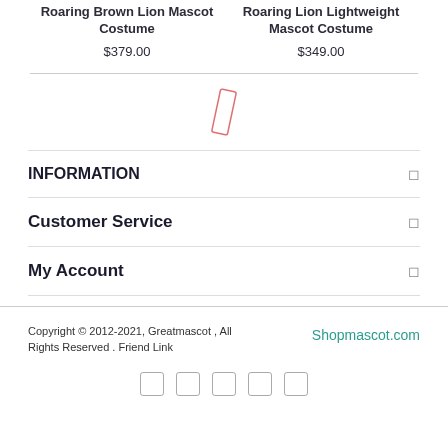Roaring Brown Lion Mascot Costume
$379.00
Roaring Lion Lightweight Mascot Costume
$349.00
[Figure (illustration): Small red outlined pencil/tag icon]
INFORMATION
Customer Service
My Account
Copyright © 2012-2021, Greatmascot , All Rights Reserved . Friend Link
Shopmascot.com
[Figure (other): Row of 5 social media icon placeholders]